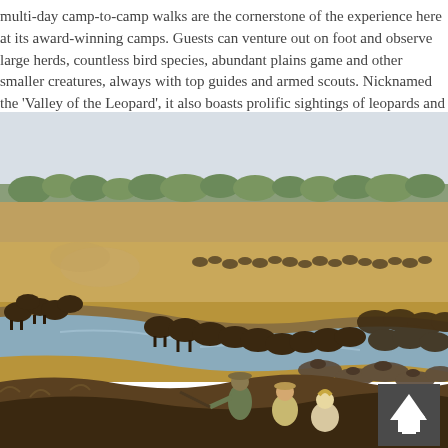multi-day camp-to-camp walks are the cornerstone of the experience here at its award-winning camps. Guests can venture out on foot and observe large herds, countless bird species, abundant plains game and other smaller creatures, always with top guides and armed scouts. Nicknamed the 'Valley of the Leopard', it also boasts prolific sightings of leopards and other predators such as wild do...
[Figure (photo): Safari scene showing a large herd of buffalo crossing a shallow river channel on a dry African plain. Three people (guides and guests) are crouching in the foreground watching the herd. Trees line the horizon under a pale sky.]